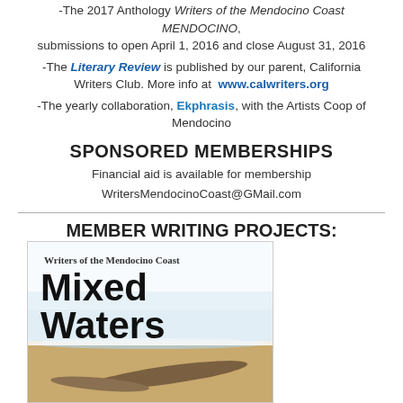-The 2017 Anthology Writers of the Mendocino Coast MENDOCINO, submissions to open April 1, 2016 and close August 31, 2016
-The Literary Review is published by our parent, California Writers Club. More info at www.calwriters.org
-The yearly collaboration, Ekphrasis, with the Artists Coop of Mendocino
SPONSORED MEMBERSHIPS
Financial aid is available for membership
WritersMendocinoCoast@GMail.com
MEMBER WRITING PROJECTS:
[Figure (photo): Book cover for 'Mixed Waters' by Writers of the Mendocino Coast, showing ocean/beach scene with driftwood, bold black title text on white background]